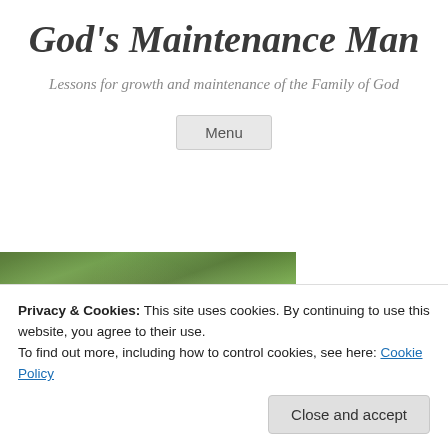God's Maintenance Man
Lessons for growth and maintenance of the Family of God
Menu
[Figure (photo): Outdoor nature photo showing dense green foliage and trees, partially visible behind cookie consent banner]
Privacy & Cookies: This site uses cookies. By continuing to use this website, you agree to their use.
To find out more, including how to control cookies, see here: Cookie Policy
Close and accept